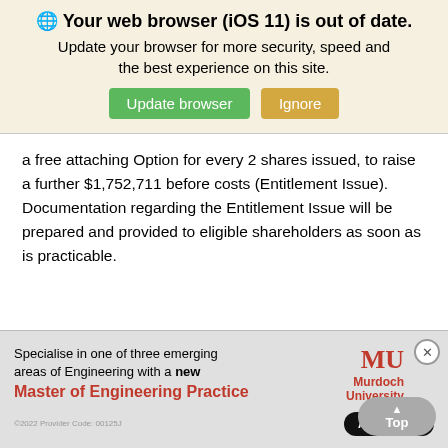[Figure (screenshot): Browser outdated warning banner with globe icon, bold title 'Your web browser (iOS 11) is out of date.', subtitle text, and two buttons: 'Update browser' (green) and 'Ignore' (tan/yellow)]
a free attaching Option for every 2 shares issued, to raise a further $1,752,711 before costs (Entitlement Issue). Documentation regarding the Entitlement Issue will be prepared and provided to eligible shareholders as soon as is practicable.
Apollo Minerals is pleased to advise that the Company has
[Figure (screenshot): Murdoch University advertisement banner showing logo, text 'Specialise in one of three emerging areas of Engineering with a new Master of Engineering Practice', Apply Now button, and a 'Top' scroll button.]